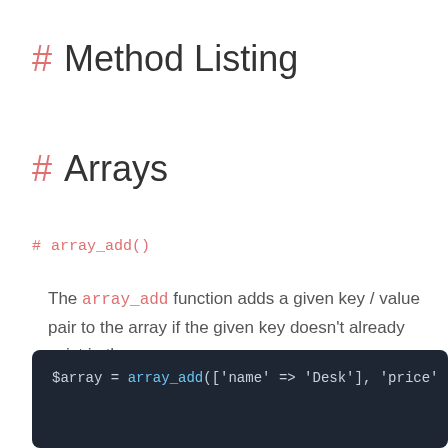# Method Listing
# Arrays
# array_add()
The array_add function adds a given key / value pair to the array if the given key doesn't already exist in the array:
[Figure (screenshot): Code block on dark background showing: $array = array_add(['name' => 'Desk'], 'price' ... and // ['name' => 'Desk', 'price' => 100]]